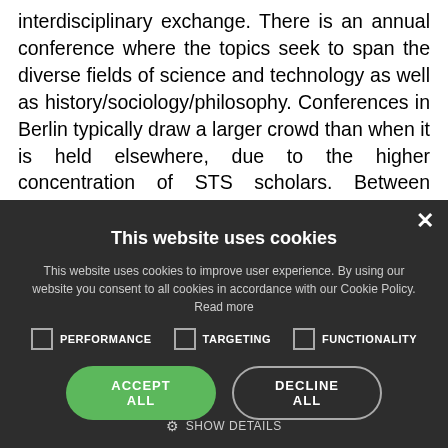interdisciplinary exchange. There is an annual conference where the topics seek to span the diverse fields of science and technology as well as history/sociology/philosophy. Conferences in Berlin typically draw a larger crowd than when it is held elsewhere, due to the higher concentration of STS scholars. Between conferences the society communicates via a Mailing-list with around 500 members. In 2012 the society started providing grants for PhD workshops at about 600 Euros. Other German STS activities are an English language
[Figure (screenshot): Cookie consent modal dialog with dark background. Contains title 'This website uses cookies', body text about cookie policy, three checkboxes for PERFORMANCE, TARGETING, and FUNCTIONALITY, two buttons ACCEPT ALL (green) and DECLINE ALL (outlined), and a SHOW DETAILS link with gear icon. A close (X) button is in the top right corner.]